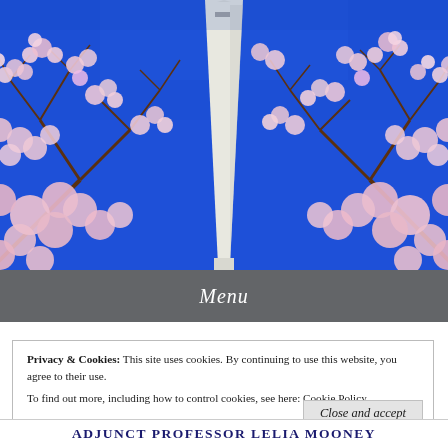[Figure (photo): Photo of the Washington Monument surrounded by cherry blossoms against a bright blue sky]
Menu
Privacy & Cookies: This site uses cookies. By continuing to use this website, you agree to their use.
To find out more, including how to control cookies, see here: Cookie Policy
Close and accept
ADJUNCT PROFESSOR LELIA MOONEY